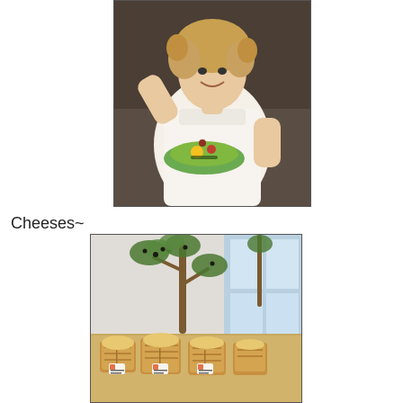[Figure (photo): A smiling woman with curly hair, wearing a white sleeveless top, holding a green plate with food (fruit, vegetables) at an event.]
Cheeses~
[Figure (photo): A table display with cheeses or food items arranged in baskets with small label cards on sticks, and a small olive tree plant as decoration, near windows with natural light.]